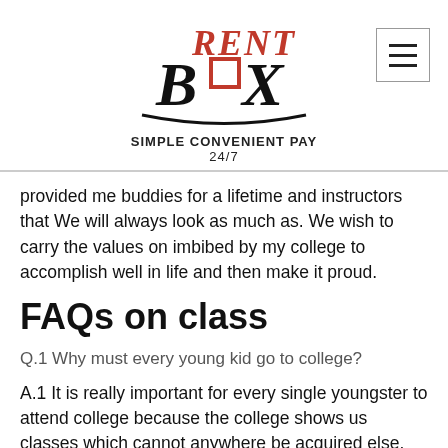RentBox - Simple Convenient Pay 24/7
provided me buddies for a lifetime and instructors that We will always look as much as. We wish to carry the values on imbibed by my college to accomplish well in life and then make it proud.
FAQs on class
Q.1 Why must every young kid go to college?
A.1 It is really important for every single youngster to attend college because the college shows us classes which cannot anywhere be acquired else. The ability is certainly one a form and along side training, we learn a number of other things such